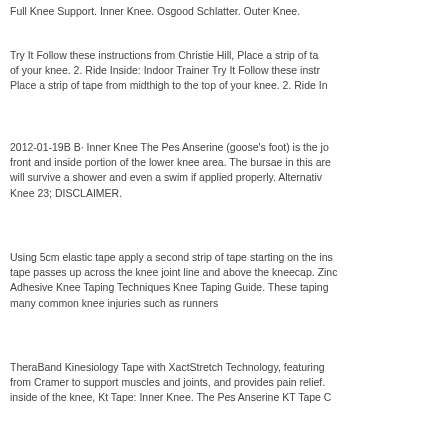Full Knee Support. Inner Knee. Osgood Schlatter. Outer Knee.
Try It Follow these instructions from Christie Hill, Place a strip of tape of your knee. 2. Ride Inside: Indoor Trainer Try It Follow these instructions Place a strip of tape from midthigh to the top of your knee. 2. Ride In
2012-01-19B B· Inner Knee The Pes Anserine (goose's foot) is the jo front and inside portion of the lower knee area. The bursae in this are will survive a shower and even a swim if applied properly. Alternativ Knee 23; DISCLAIMER.
Using 5cm elastic tape apply a second strip of tape starting on the ins tape passes up across the knee joint line and above the kneecap. Zinc Adhesive Knee Taping Techniques Knee Taping Guide. These taping many common knee injuries such as runners
TheraBand Kinesiology Tape with XactStretch Technology, featuring from Cramer to support muscles and joints, and provides pain relief. inside of the knee, Kt Tape: Inner Knee. The Pes Anserine KT Tape C